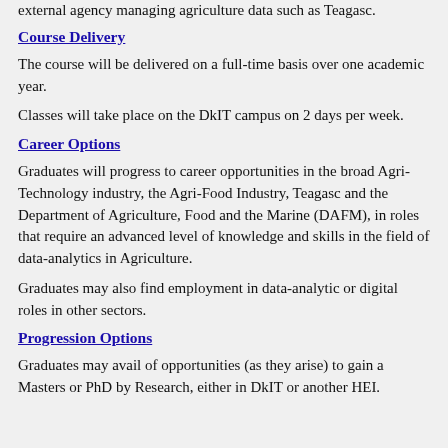external agency managing agriculture data such as Teagasc.
Course Delivery
The course will be delivered on a full-time basis over one academic year.
Classes will take place on the DkIT campus on 2 days per week.
Career Options
Graduates will progress to career opportunities in the broad Agri-Technology industry, the Agri-Food Industry, Teagasc and the Department of Agriculture, Food and the Marine (DAFM), in roles that require an advanced level of knowledge and skills in the field of data-analytics in Agriculture.
Graduates may also find employment in data-analytic or digital roles in other sectors.
Progression Options
Graduates may avail of opportunities (as they arise) to gain a Masters or PhD by Research, either in DkIT or another HEI.